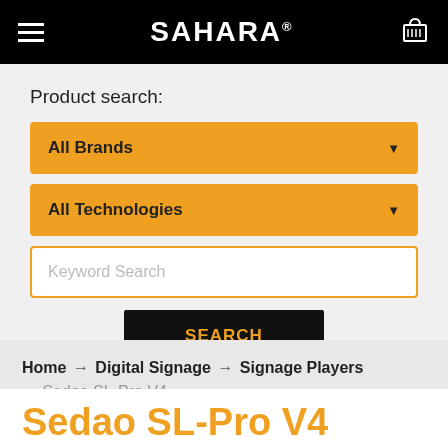SAHARA®
Product search:
All Brands
All Technologies
Keyword Search
SEARCH
Home → Digital Signage → Signage Players → Sedao SL-Pro V4
Sedao SL-Pro V4